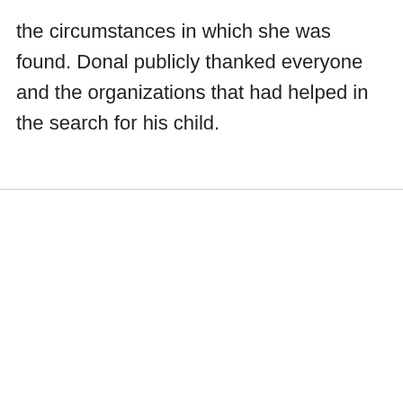the circumstances in which she was found. Donal publicly thanked everyone and the organizations that had helped in the search for his child.